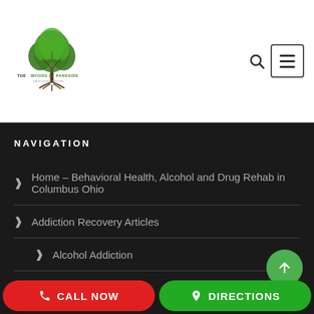[Figure (logo): The Woods at Parkside logo — a tree with roots, text reading 'THE WOODS AT PARKSIDE where recovery takes root']
NAVIGATION
Home – Behavioral Health, Alcohol and Drug Rehab in Columbus Ohio
Addiction Recovery Articles
Alcohol Addiction
CALL NOW
DIRECTIONS